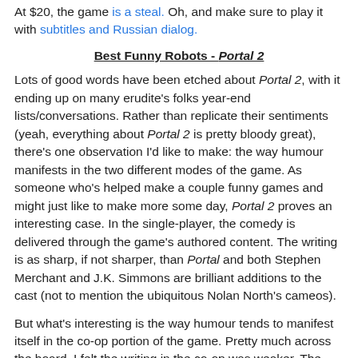At $20, the game is a steal. Oh, and make sure to play it with subtitles and Russian dialog.
Best Funny Robots - Portal 2
Lots of good words have been etched about Portal 2, with it ending up on many erudite's folks year-end lists/conversations. Rather than replicate their sentiments (yeah, everything about Portal 2 is pretty bloody great), there's one observation I'd like to make: the way humour manifests in the two different modes of the game. As someone who's helped make a couple funny games and might just like to make more some day, Portal 2 proves an interesting case. In the single-player, the comedy is delivered through the game's authored content. The writing is as sharp, if not sharper, than Portal and both Stephen Merchant and J.K. Simmons are brilliant additions to the cast (not to mention the ubiquitous Nolan North's cameos).
But what's interesting is the way humour tends to manifest itself in the co-op portion of the game. Pretty much across the board, I felt the writing in the co-op was weaker. The